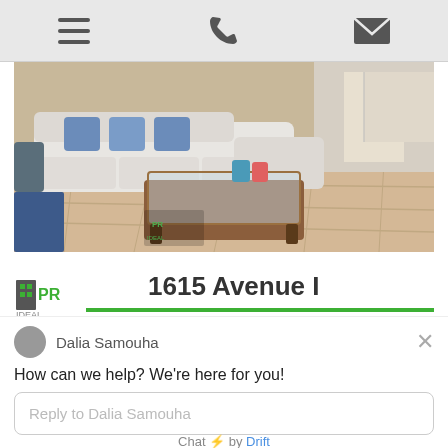Navigation bar with menu, phone, and email icons
[Figure (photo): Interior photo of a living room with a white L-shaped sectional sofa, blue patterned throw pillows, a glass-top wooden coffee table, and light hardwood floors. A real estate company logo watermark is visible in the lower left of the photo.]
1615 Avenue I
[Figure (logo): PR Ideal Properties by real estate company logo with green and dark grey building icon and text]
Dalia Samouha
How can we help? We're here for you!
Reply to Dalia Samouha
Chat ⚡ by Drift